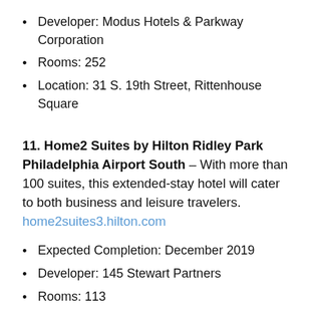Developer: Modus Hotels & Parkway Corporation
Rooms: 252
Location: 31 S. 19th Street, Rittenhouse Square
11. Home2 Suites by Hilton Ridley Park Philadelphia Airport South – With more than 100 suites, this extended-stay hotel will cater to both business and leisure travelers. home2suites3.hilton.com
Expected Completion: December 2019
Developer: 145 Stewart Partners
Rooms: 113
Location: 145 S. Stewart Avenue, Ridley Park